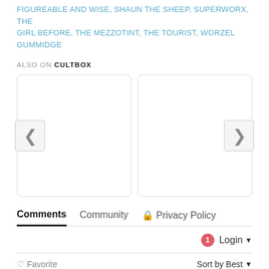FIGUREABLE AND WISE, SHAUN THE SHEEP, SUPERWORX, THE GIRL BEFORE, THE MEZZOTINT, THE TOURIST, WORZEL GUMMIDGE
ALSO ON CULTBOX
[Figure (screenshot): A carousel widget with two card panels and left/right navigation arrows.]
Comments  Community  Privacy Policy
1  Login
Favorite  Sort by Best